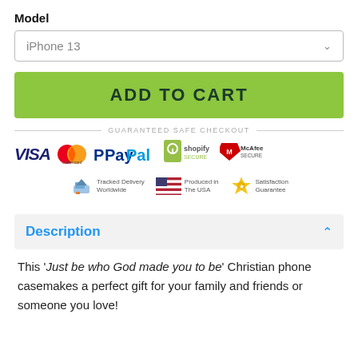Model
iPhone 13
ADD TO CART
GUARANTEED SAFE CHECKOUT
[Figure (infographic): Payment and trust logos: VISA, Mastercard, PayPal, Shopify Secure, McAfee Secure, Tracked Delivery Worldwide, Produced in The USA, Satisfaction Guarantee]
Description
This 'Just be who God made you to be' Christian phone casemakes a perfect gift for your family and friends or someone you love!